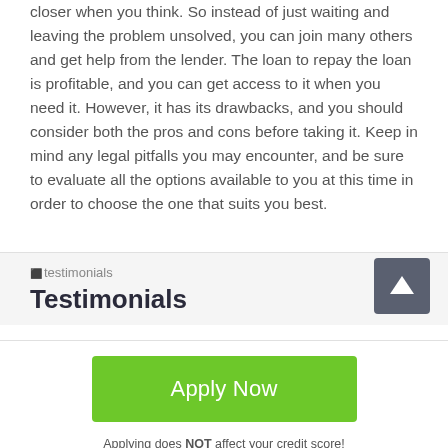closer when you think. So instead of just waiting and leaving the problem unsolved, you can join many others and get help from the lender. The loan to repay the loan is profitable, and you can get access to it when you need it. However, it has its drawbacks, and you should consider both the pros and cons before taking it. Keep in mind any legal pitfalls you may encounter, and be sure to evaluate all the options available to you at this time in order to choose the one that suits you best.
[Figure (illustration): Testimonials image placeholder icon]
Testimonials
[Figure (other): Scroll-up button with upward arrow icon, dark gray background]
Apply Now
Applying does NOT affect your credit score!
No credit check to apply.